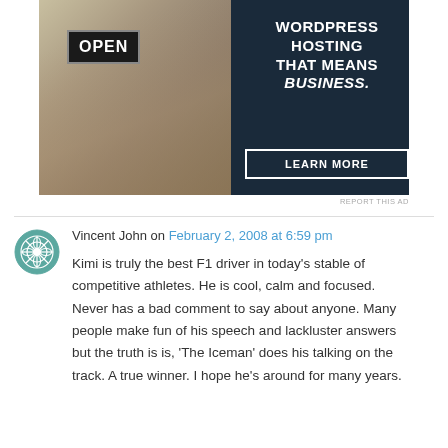[Figure (photo): Advertisement banner: WordPress hosting. Left side shows a woman holding an OPEN sign, right side has dark navy background with text 'WORDPRESS HOSTING THAT MEANS BUSINESS.' and a 'LEARN MORE' button.]
REPORT THIS AD
Vincent John on February 2, 2008 at 6:59 pm
Kimi is truly the best F1 driver in today’s stable of competitive athletes. He is cool, calm and focused. Never has a bad comment to say about anyone. Many people make fun of his speech and lackluster answers but the truth is is, ‘The Iceman’ does his talking on the track. A true winner. I hope he’s around for many years.